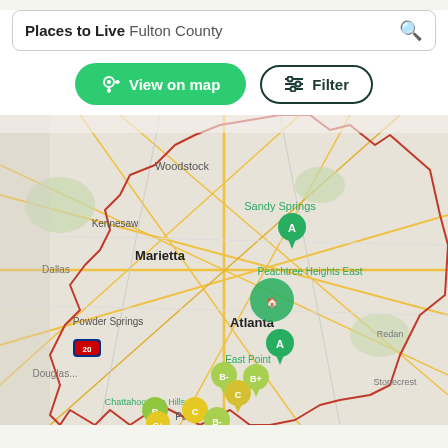Places to Live Fulton County
View on map
Filter
[Figure (map): Interactive map of Fulton County, Georgia showing neighborhoods and cities including Woodstock, Kennesaw, Sandy Springs (grade A), Marietta, Peachtree Heights East, Atlanta (grade A), Powder Springs, East Point, Chattahoochee Hills, Palmetto, and others with letter grade markers (A, B, B-, B+, C, C+, C-) shown as colored pins on the map. The Fulton County boundary is outlined in red.]